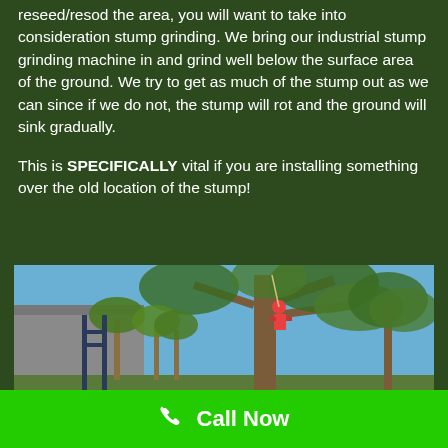reseed/resod the area, you will want to take into consideration stump grinding. We bring our industrial stump grinding machine in and grind well below the surface area of the ground. We try to get as much of the stump out as we can since if we do not, the stump will rot and the ground will sink gradually.

This is SPECIFICALLY vital if you are installing something over the old location of the stump!
[Figure (photo): A tree care worker in a red shirt climbing a large tree, with palm trees and a building in the background, blue sky visible.]
Call Now